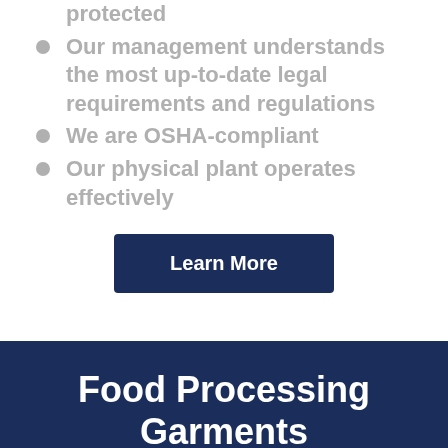protected
Our management understands the most up-to-date legal requirements and regulations
We are OSHA-compliant
Our physical plant operates effectively
Learn More
Food Processing Garments
Choose from a variety of uniform garments in fabrics and fits that keep your employees safe and comfortable on the job, including uniforms that